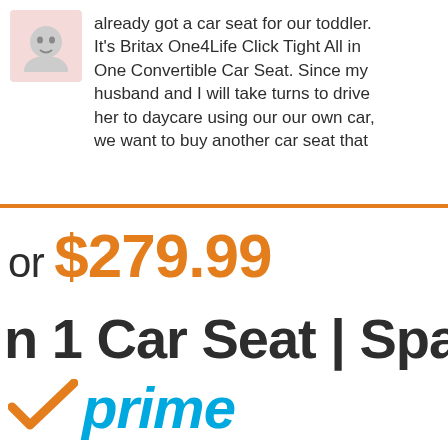already got a car seat for our toddler. It's Britax One4Life Click Tight All in One Convertible Car Seat. Since my husband and I will take turns to drive her to daycare using our our own car, we want to buy another car seat that
or $279.99
n 1 Car Seat | Spa
[Figure (logo): Amazon Prime logo with orange checkmark and 'prime' text in teal/blue]